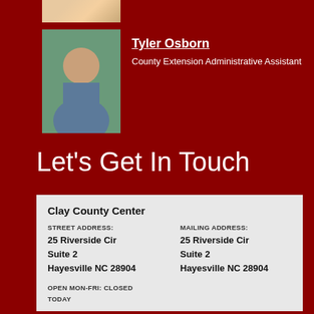[Figure (photo): Partial photo cropped at top]
[Figure (photo): Headshot photo of Tyler Osborn]
Tyler Osborn
County Extension Administrative Assistant
Let's Get In Touch
| Clay County Center |
| --- |
| STREET ADDRESS: | MAILING ADDRESS: |
| 25 Riverside Cir | 25 Riverside Cir |
| Suite 2 | Suite 2 |
| Hayesville NC 28904 | Hayesville NC 28904 |
| OPEN MON-FRI: CLOSED TODAY |  |
| (828) 389-6305 |  |
| clay.ces.ncsu.edu |  |
| FAX: (828) 389-8872 |  |